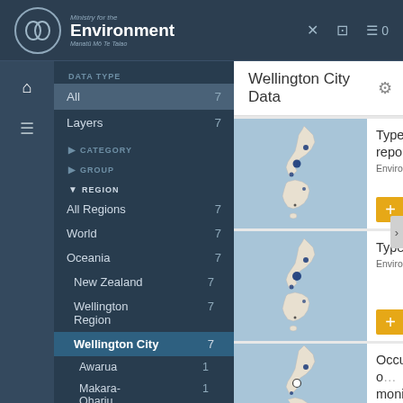[Figure (screenshot): Ministry for the Environment logo with circular icon and text 'Environment / Manatū Mō Te Taiao']
Ministry for the Environment — top navigation bar with icons
DATA TYPE
All  7
Layers  7
CATEGORY
GROUP
REGION
All Regions  7
World  7
Oceania  7
New Zealand  7
Wellington Region  7
Wellington City  7
Awarua  1
Makara-Ohariu  1
Wilton-Otari  1
Wellington City Data
Type 2 Marin… report) — Environmental Rep…
Type2 Marine… — Environmental Rep…
Occurrence o… monitored po… — Environmental Rep…